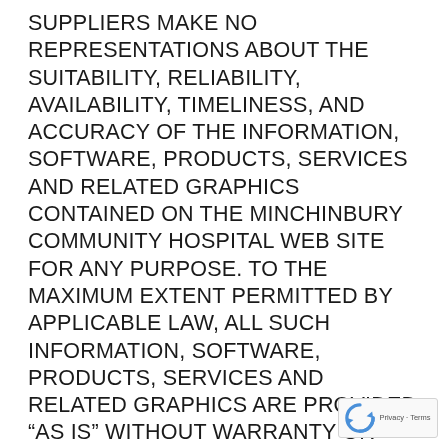SUPPLIERS MAKE NO REPRESENTATIONS ABOUT THE SUITABILITY, RELIABILITY, AVAILABILITY, TIMELINESS, AND ACCURACY OF THE INFORMATION, SOFTWARE, PRODUCTS, SERVICES AND RELATED GRAPHICS CONTAINED ON THE MINCHINBURY COMMUNITY HOSPITAL WEB SITE FOR ANY PURPOSE. TO THE MAXIMUM EXTENT PERMITTED BY APPLICABLE LAW, ALL SUCH INFORMATION, SOFTWARE, PRODUCTS, SERVICES AND RELATED GRAPHICS ARE PROVIDED “AS IS” WITHOUT WARRANTY OR CONDITION OF ANY KIND. MINCHINBURY COMMUNITY HOSPITAL AND/OR ITS SUPPLIERS HEREBY DISCLAIM ALL WARRANTIES AND CONDITIONS WITH REGARD TO THIS INFORMATION, SOFTWARE, PRODUCTS, SERVICES AND RELATED GRAPHICS, INCLUDING ALL IMPLIED WARRANTIES OR CONDITIONS OF MERCHANTABILITY, FITNESS FOR A PARTICULAR PURPOSE, TITLE AND NON-INFRINGEMENT.
[Figure (logo): Google reCAPTCHA badge with recycling-arrow icon and 'Privacy - Terms' text]